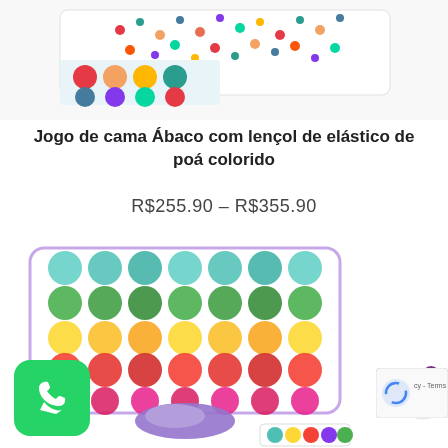[Figure (photo): Top portion of colorful polka-dot bedding set with small multicolor dots on white fabric, partially folded]
Jogo de cama Ábaco com lençol de elástico de poá colorido
R$255.90 – R$355.90
[Figure (photo): Colorful polka-dot bedding set (pillow and sheets) with rows of large multicolored dots arranged in rainbow rows: teal, green, yellow, orange/red, pink/magenta, blue, purple/lavender, teal — on white background, with a purple folded piece and small folded item in front]
[Figure (logo): WhatsApp green button icon (bottom left)]
[Figure (other): Purple shopping cart button with '0' badge (right side)]
[Figure (other): reCAPTCHA badge (bottom right) with 'cy - Terms' text visible]